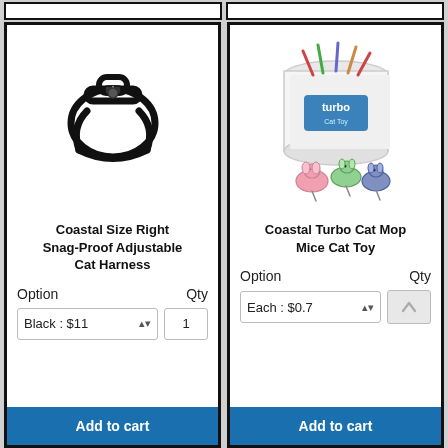[Figure (photo): Top partial card bars at top of page]
[Figure (photo): Black cat harness product photo]
Coastal Size Right Snag-Proof Adjustable Cat Harness
Option   Qty
Black : $11   1
Add to cart
[Figure (photo): Coastal Turbo cat mop mice toy in clear container with mice toys displayed]
Coastal Turbo Cat Mop Mice Cat Toy
Option   Qty
Each : $0.7
Add to cart